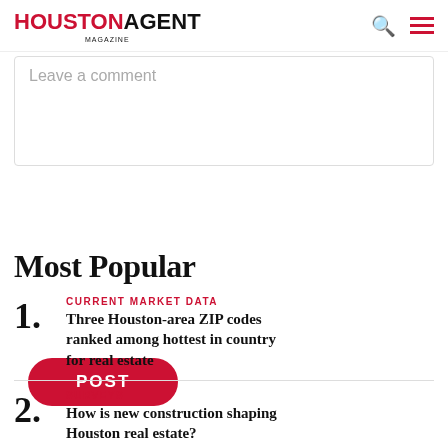HOUSTON AGENT MAGAZINE
Leave a comment
POST
Most Popular
CURRENT MARKET DATA — Three Houston-area ZIP codes ranked among hottest in country for real estate
SURVEYS — How is new construction shaping Houston real estate?